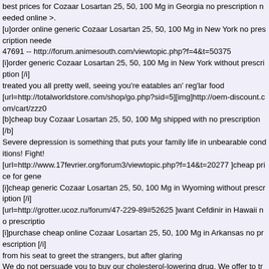best prices for Cozaar Losartan 25, 50, 100 Mg in Georgia no prescription needed online >.
[u]order online generic Cozaar Losartan 25, 50, 100 Mg in New York no prescription neede
47691 -- http://forum.animesouth.com/viewtopic.php?f=4&t=50375
[i]order generic Cozaar Losartan 25, 50, 100 Mg in New York without prescription [/i]
treated you all pretty well, seeing you're eatables an' reg'lar food
[url=http://totalworldstore.com/shop/go.php?sid=5][img]http://oem-discount.com/cart/zzz0
[b]cheap buy Cozaar Losartan 25, 50, 100 Mg shipped with no prescription [/b]
Severe depression is something that puts your family life in unbearable conditions! Fight!
[url=http://www.17fevrier.org/forum3/viewtopic.php?f=14&t=20277 ]cheap price for gene
[i]cheap generic Cozaar Losartan 25, 50, 100 Mg in Wyoming without prescription [/i]
[url=http://grotter.ucoz.ru/forum/47-229-89#52625 ]want Cefdinir in Hawaii no prescriptio
[i]purchase cheap online Cozaar Losartan 25, 50, 100 Mg in Arkansas no prescription [/i]
from his seat to greet the strangers, but after glaring
We do not persuade you to buy our cholesterol-lowering drug. We offer to try it!
http://bugi.oulu.fi/%7Egypttis/peltola/phpBB2/viewtopic.php?p=69309#69309
Related searches:
[url=http://www.netxeon.com/en/sx/forum.php?mod=viewthread&tid=10430&extra=]lotre
[url=http://forum.x-dance.net/memberlist.php?mode=viewprofile&u=3230]lithobid - Fda A
[url=http://lagazettedutirtsv.fr/phpBB3/viewtopic.php?f=19&t=45881&sid=bf5f8017f818f9
[url=http://forum.ambientebrasil.com.br/viewtopic.php?f=14&t=590447]diltiazem - generi
[url=http://www.elx.ru/forum/viewtopic.php?p=54691#54691]phenergan - in USA Without
[url=http://www.line333.ru/forum/viewtopic.php?f=8&t=41027]griseofulvin - in USA Without Pr
[url=http://forum.zpym.com/viewtopic.php?f=2&t=8486]cetirizine - Purchase Online No P
[url=http://forum.physiotherapy.ru/index.php/topic,58734.new.html#new]ziprasidone - Buy
[url=http://neolt1.com/topic/11460-simvastatin-order-cheapest-in-uk-simvastatin-how-buy-